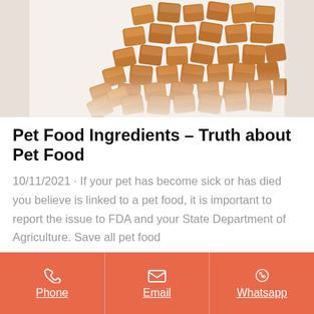[Figure (photo): Photo of brown cube-shaped pet food kibble/treats scattered from a jar on a white background]
Pet Food Ingredients – Truth about Pet Food
10/11/2021 · If your pet has become sick or has died you believe is linked to a pet food, it is important to report the issue to FDA and your State Department of Agriculture. Save all pet food
Phone | Email | Whatsapp